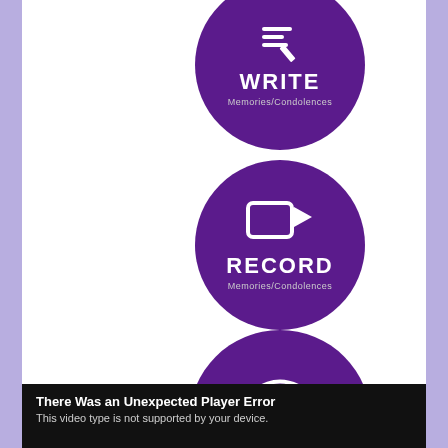[Figure (illustration): Purple circle button with pencil/write icon, labeled WRITE with subtext Memories/Condolences]
[Figure (illustration): Purple circle button with video camera icon, labeled RECORD with subtext Memories/Condolences]
[Figure (illustration): Purple circle button with eye icon, labeled VIEW with subtext Memories/Condolences]
There Was an Unexpected Player Error
This video type is not supported by your device.